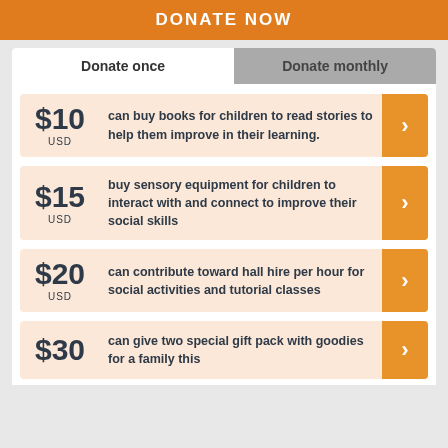DONATE NOW
Donate once
Donate monthly
$10 USD — can buy books for children to read stories to help them improve in their learning.
$15 USD — buy sensory equipment for children to interact with and connect to improve their social skills
$20 USD — can contribute toward hall hire per hour for social activities and tutorial classes
$30 — can give two special gift pack with goodies for a family this